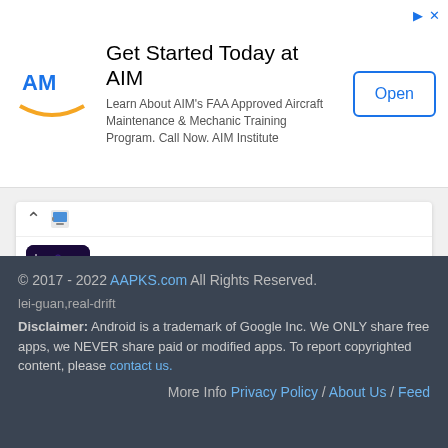[Figure (screenshot): Advertisement banner for AIM Institute - Get Started Today at AIM, FAA Approved Aircraft Maintenance & Mechanic Training Program. Open button.]
Antimatter Live Wallpaper
Quiet and Slow 2: Seaside
All
© 2017 - 2022 AAPKS.com All Rights Reserved. lei-guan,real-drift Disclaimer: Android is a trademark of Google Inc. We ONLY share free apps, we NEVER share paid or modified apps. To report copyrighted content, please contact us. More Info Privacy Policy / About Us / Feed